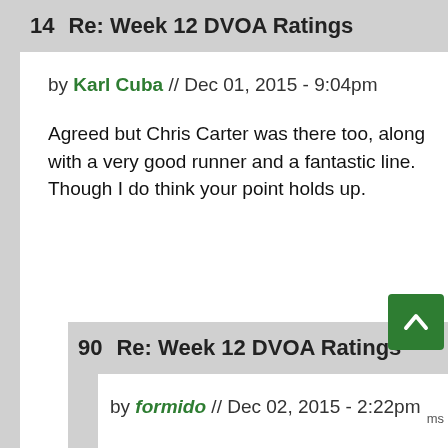14  Re: Week 12 DVOA Ratings
by Karl Cuba // Dec 01, 2015 - 9:04pm
Agreed but Chris Carter was there too, along with a very good runner and a fantastic line. Though I do think your point holds up.
90  Re: Week 12 DVOA Ratings
by formido // Dec 02, 2015 - 2:22pm
We're not talking about one version of Moss, we're talking about all his incarnations: